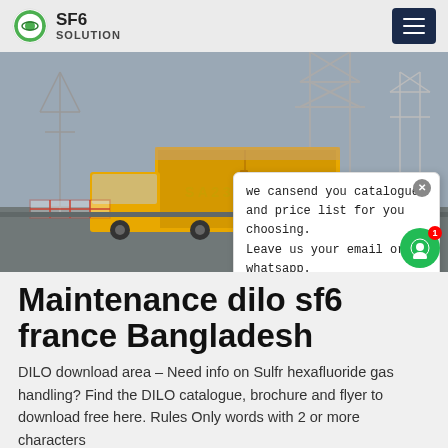SF6 SOLUTION
[Figure (photo): Outdoor industrial site with yellow service truck/container and electrical transmission towers in the background]
we cansend you catalogue and price list for you choosing. Leave us your email or whatsapp.
Maintenance dilo sf6 france Bangladesh
DILO download area – Need info on Sulfr hexafluoride gas handling? Find the DILO catalogue, brochure and flyer to download free here. Rules Only words with 2 or more characters